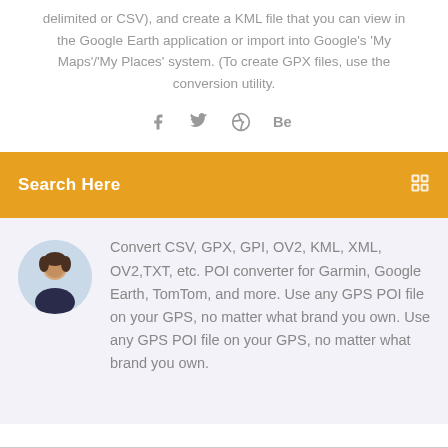delimited or CSV), and create a KML file that you can view in the Google Earth application or import into Google's 'My Maps'/'My Places' system. (To create GPX files, use the conversion utility.
[Figure (infographic): Social media icons: Facebook (f), Twitter bird, Dribbble ball, Behance (Be) - all in gray]
Search Here
[Figure (photo): Circular avatar photo of a young man with dark hair against a light background]
Convert CSV, GPX, GPI, OV2, KML, XML, OV2,TXT, etc. POI converter for Garmin, Google Earth, TomTom, and more. Use any GPS POI file on your GPS, no matter what brand you own. Use any GPS POI file on your GPS, no matter what brand you own.